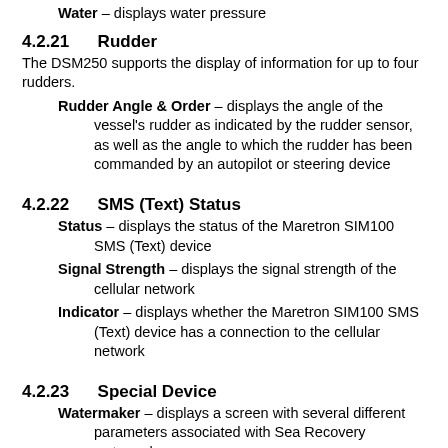Water – displays water pressure
4.2.21   Rudder
The DSM250 supports the display of information for up to four rudders.
Rudder Angle & Order – displays the angle of the vessel's rudder as indicated by the rudder sensor, as well as the angle to which the rudder has been commanded by an autopilot or steering device
4.2.22   SMS (Text) Status
Status – displays the status of the Maretron SIM100 SMS (Text) device
Signal Strength – displays the signal strength of the cellular network
Indicator – displays whether the Maretron SIM100 SMS (Text) device has a connection to the cellular network
4.2.23   Special Device
Watermaker – displays a screen with several different parameters associated with Sea Recovery watermakers